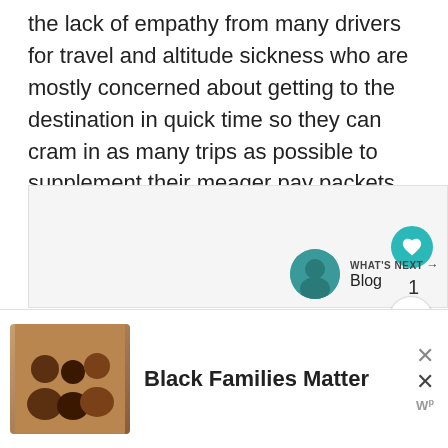the lack of empathy from many drivers for travel and altitude sickness who are mostly concerned about getting to the destination in quick time so they can cram in as many trips as possible to supplement their meager pay packets.
[Figure (screenshot): A UI panel showing a heart/like button (teal circle with heart icon), a like count of 1, a share button, three dot pagination indicators, and a 'What's Next → Blog' section with a thumbnail image.]
[Figure (photo): Advertisement banner showing a photo of smiling Black family members and bold text 'Black Families Matter' with close buttons and a W superscript logo.]